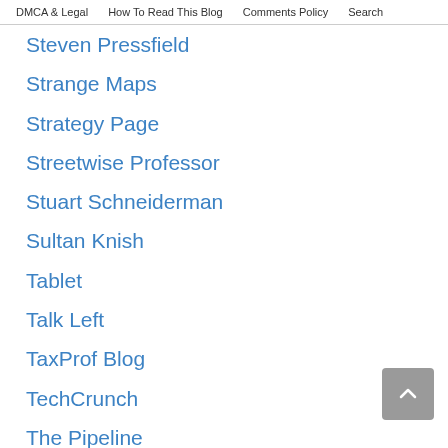DMCA & Legal | How To Read This Blog | Comments Policy | Search
Steven Pressfield
Strange Maps
Strategy Page
Streetwise Professor
Stuart Schneiderman
Sultan Knish
Tablet
Talk Left
TaxProf Blog
TechCrunch
The Pipeline
Think-Israel